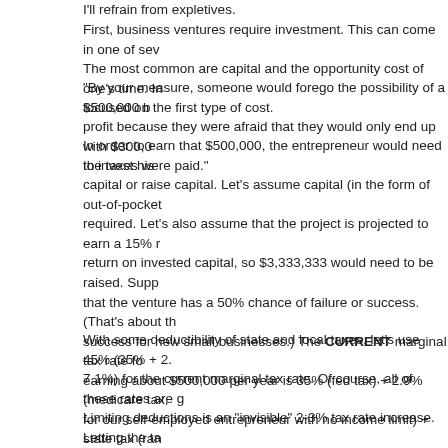I'll refrain from expletives.
First, business ventures require investment. This can come in one of several forms. The most common are capital and the opportunity cost of one's time. In this post, I'm focused on the first type of cost.
"By your measure, someone would forego the possibility of a $500,000 b... profit because they were afraid that they would only end up with $300,0... the taxes were paid."
In order to earn that $500,000, the entrepreneur would need to invest his capital or raise capital. Let's assume capital (in the form of out-of-pocket... required. Let's also assume that the project is projected to earn a 15% r... return on invested capital, so $3,333,333 would need to be raised. Supp... that the venture has a 50% chance of failure or success. (That's about th... success for new small businesses.) The CURRENT marginal tax rate fo... earning about $500,000 per year is 35% (fed tax) + 2.9% (medicare tax,... for our self-employed entrepreneur with no income limit) + state tax (ran... zero to 10%, which is often not fully deductible due to AMT) + city tax (e... New York City). Of course, this assumes the firm is an LLC (which is sub... 4% unincorporated business tax in New York but we'll ignore that) and ig... other taxes (property tax, sales tax, various fees and charges, etc.)
With some deductibility of state and local taxes, let's use 45% (35% + 2... 7.1%) for the current marginal tax rate. Of course, all of these rates are g...
Limiting deductions is an "invisible" 2-3% tax rate increase. Letting the ta... expire will yield another 5%. Any AMT "reform" will likely add at least ano...